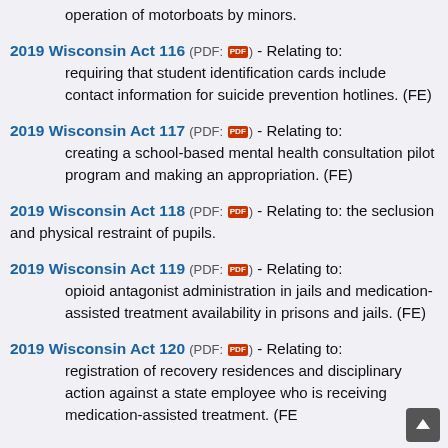2019 Wisconsin Act 116 (PDF) - Relating to: requiring that student identification cards include contact information for suicide prevention hotlines. (FE)
2019 Wisconsin Act 117 (PDF) - Relating to: creating a school-based mental health consultation pilot program and making an appropriation. (FE)
2019 Wisconsin Act 118 (PDF) - Relating to: the seclusion and physical restraint of pupils.
2019 Wisconsin Act 119 (PDF) - Relating to: opioid antagonist administration in jails and medication-assisted treatment availability in prisons and jails. (FE)
2019 Wisconsin Act 120 (PDF) - Relating to: registration of recovery residences and disciplinary action against a state employee who is receiving medication-assisted treatment. (FE)